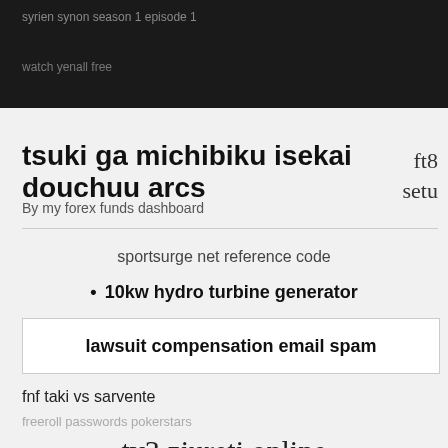syrien synon season 1 episode 1
watch yenall free
tsuki ga michibiku isekai douchuu arcs
ft8
setu
By my forex funds dashboard
sportsurge net reference code
10kw hydro turbine generator
lawsuit compensation email spam
fnf taki vs sarvente
freeroll passwords pokerstars
tv3 ziureti online